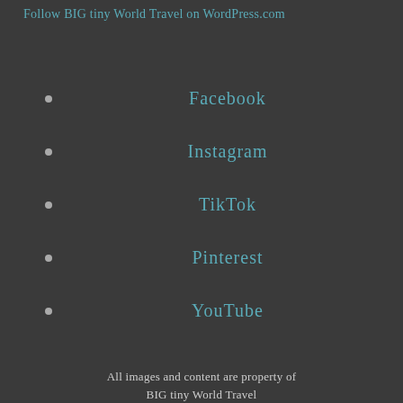Follow BIG tiny World Travel on WordPress.com
Facebook
Instagram
TikTok
Pinterest
YouTube
All images and content are property of BIG tiny World Travel